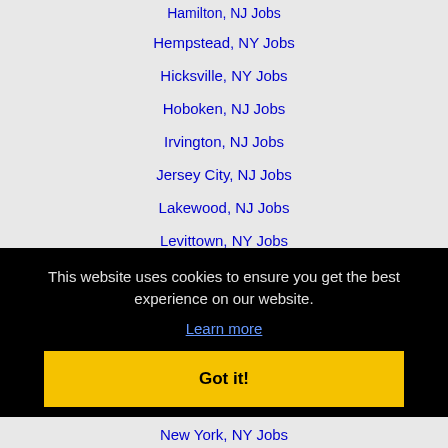Hamilton, NJ Jobs
Hempstead, NY Jobs
Hicksville, NY Jobs
Hoboken, NJ Jobs
Irvington, NJ Jobs
Jersey City, NJ Jobs
Lakewood, NJ Jobs
Levittown, NY Jobs
Levittown, PA Jobs
Lower Merion, PA Jobs
This website uses cookies to ensure you get the best experience on our website.
Learn more
Got it!
New York, NY Jobs